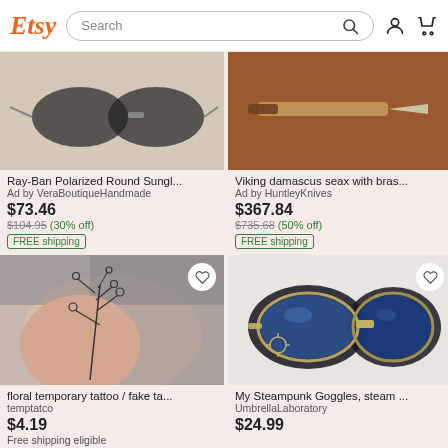Etsy — Search
[Figure (screenshot): Etsy product listing: Ray-Ban Polarized Round Sunglasses, Ad by VeraBoutiqueHandmade, $73.46, original $104.95 (30% off), FREE shipping]
[Figure (screenshot): Etsy product listing: Viking damascus seax with brass..., Ad by HuntleyKnives, $367.84, original $735.68 (50% off), FREE shipping]
[Figure (photo): Floral temporary tattoo on arm — floral temporary tattoo / fake ta..., temptatco, $4.19, Free shipping eligible]
[Figure (photo): Steampunk goggles with blue lenses — My Steampunk Goggles, steam ..., UmbrellaLaboratory, $24.99]